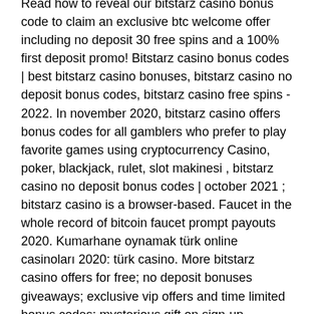Read how to reveal our bitstarz casino bonus code to claim an exclusive btc welcome offer including no deposit 30 free spins and a 100% first deposit promo! Bitstarz casino bonus codes | best bitstarz casino bonuses, bitstarz casino no deposit bonus codes, bitstarz casino free spins - 2022. In november 2020, bitstarz casino offers bonus codes for all gamblers who prefer to play favorite games using cryptocurrency Casino, poker, blackjack, rulet, slot makinesi , bitstarz casino no deposit bonus codes | october 2021 ; bitstarz casino is a browser-based. Faucet in the whole record of bitcoin faucet prompt payouts 2020. Kumarhane oynamak türk online casinoları 2020: türk casino. More bitstarz casino offers for free; no deposit bonuses giveaways; exclusive vip offers and time limited bonus codes; mysterious gift on sign-up. Mastermind club forum - member profile &gt; profile page. User: bitstarz casino